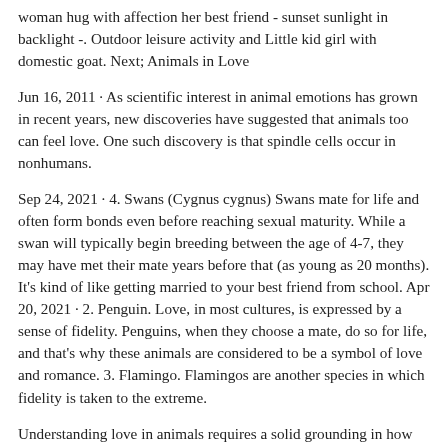woman hug with affection her best friend - sunset sunlight in backlight -. Outdoor leisure activity and Little kid girl with domestic goat. Next; Animals in Love
Jun 16, 2011 · As scientific interest in animal emotions has grown in recent years, new discoveries have suggested that animals too can feel love. One such discovery is that spindle cells occur in nonhumans.
Sep 24, 2021 · 4. Swans (Cygnus cygnus) Swans mate for life and often form bonds even before reaching sexual maturity. While a swan will typically begin breeding between the age of 4-7, they may have met their mate years before that (as young as 20 months). It's kind of like getting married to your best friend from school. Apr 20, 2021 · 2. Penguin. Love, in most cultures, is expressed by a sense of fidelity. Penguins, when they choose a mate, do so for life, and that's why these animals are considered to be a symbol of love and romance. 3. Flamingo. Flamingos are another species in which fidelity is taken to the extreme.
Understanding love in animals requires a solid grounding in how scientists define and measure love in humans. "There are different theories about how to slice up the pie for this thing that we call love...Sep 24, 2021 · 4. Swans (Cygnus cygnus) Swans mate for life and often form bonds even before reaching sexual maturity. While a swan will typically begin breeding between the age of 4-7,